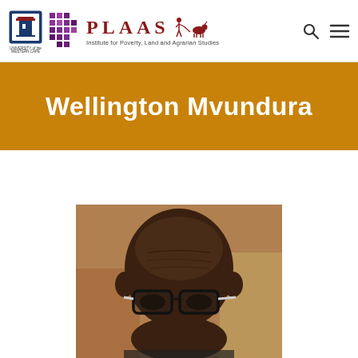[Figure (logo): PLAAS Institute for Poverty, Land and Agrarian Studies website header with UWC logo, dots/grid logo, PLAAS wordmark and tagline, search and menu icons]
Wellington Mvundura
[Figure (photo): Close-up photo of Wellington Mvundura, a bald man wearing black-framed glasses, cropped to show head and upper face]